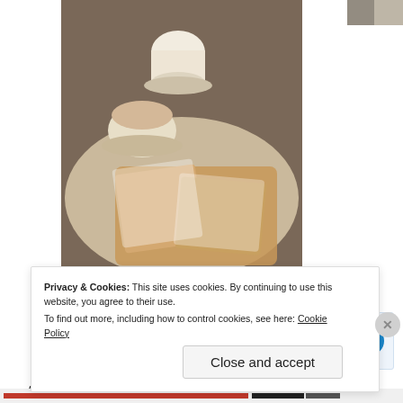[Figure (photo): Photo of coffee cups and powdered sugar pastries (beignets) on a round table, café setting]
[Figure (photo): Partial photo top right, interior scene]
Advertisements
[Figure (screenshot): WordPress app advertisement: 'Build a writing habit. Post on the go.' with GET THE APP button and WordPress logo]
After Breakfast I decided to head down some of the streets in the antique shop  district. On my way I was
Privacy & Cookies: This site uses cookies. By continuing to use this website, you agree to their use.
To find out more, including how to control cookies, see here: Cookie Policy
Close and accept